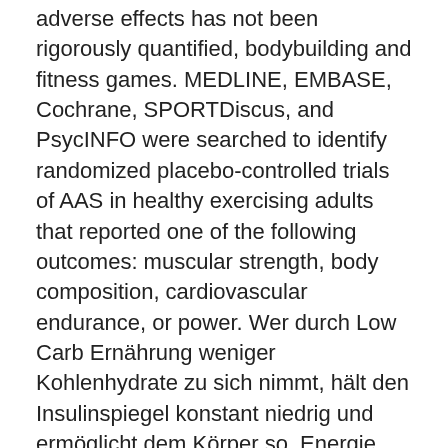adverse effects has not been rigorously quantified, bodybuilding and fitness games. MEDLINE, EMBASE, Cochrane, SPORTDiscus, and PsycINFO were searched to identify randomized placebo-controlled trials of AAS in healthy exercising adults that reported one of the following outcomes: muscular strength, body composition, cardiovascular endurance, or power. Wer durch Low Carb Ernährung weniger Kohlenhydrate zu sich nimmt, hält den Insulinspiegel konstant niedrig und ermöglicht dem Körper so, Energie aus Fett zu gewinnen, bodybuilding and fitness games. Drei- bis fünfstündige Pausen zwischen den Mahlzeiten optimieren den Fettstoffwechsel zusätzlich. Mit zunehmender Alkankettenlänge steigt auch die Wirkdauer. Anabola steroider till salu på det lägsta priset i sverige, bodybuilding and fitness games. In the diet, it mainly comes